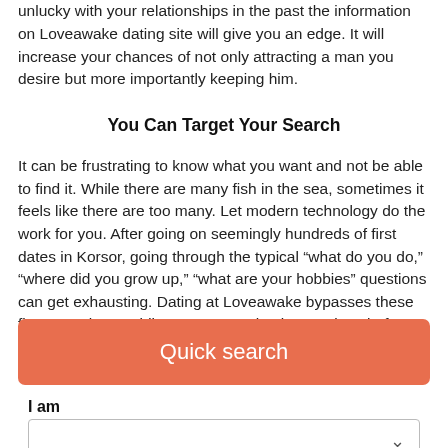unlucky with your relationships in the past the information on Loveawake dating site will give you an edge. It will increase your chances of not only attracting a man you desire but more importantly keeping him.
You Can Target Your Search
It can be frustrating to know what you want and not be able to find it. While there are many fish in the sea, sometimes it feels like there are too many. Let modern technology do the work for you. After going on seemingly hundreds of first dates in Korsor, going through the typical “what do you do,” “where did you grow up,” “what are your hobbies” questions can get exhausting. Dating at Loveawake bypasses these first steps by providing answers to basic questions before you meet in person or talk on the phone.
[Figure (other): Quick search button - orange/salmon colored rounded rectangle with white text 'Quick search']
I am
[Figure (other): Dropdown selector box with a chevron arrow on the right]